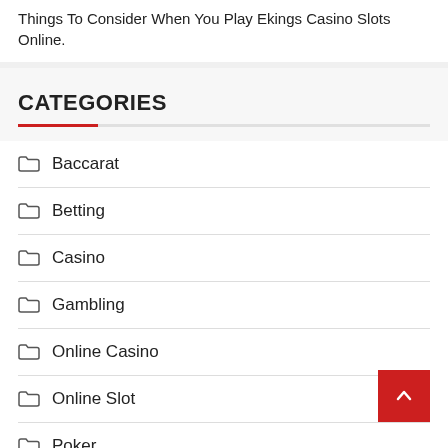Things To Consider When You Play Ekings Casino Slots Online.
CATEGORIES
Baccarat
Betting
Casino
Gambling
Online Casino
Online Slot
Poker